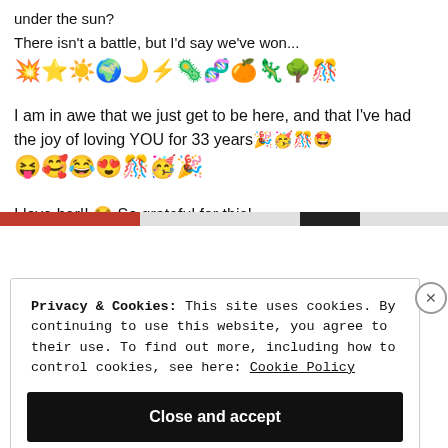under the sun?
There isn't a battle, but I'd say we've won...
💥⭐☀️🌍🌙⚡🦠🧬🍊🦎🌳🎊
I am in awe that we just get to be here, and that I've had the joy of loving YOU for 33 years🎉🥳🎊🤩😝🥰😂😍🎊🥳🎉
I love her!! 😭 So grateful for this!
Privacy & Cookies: This site uses cookies. By continuing to use this website, you agree to their use. To find out more, including how to control cookies, see here: Cookie Policy
Close and accept